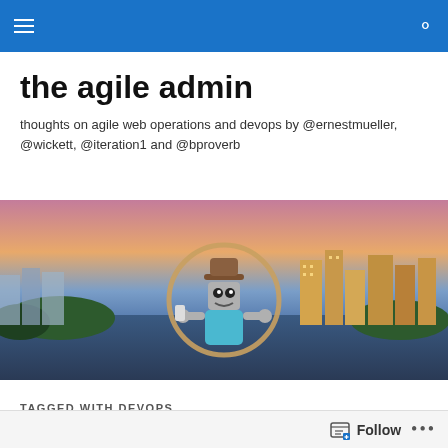the agile admin navigation bar
the agile admin
thoughts on agile web operations and devops by @ernestmueller, @wickett, @iteration1 and @bproverb
[Figure (photo): Hero banner image showing a city skyline at dusk/sunset with a cartoon robot mascot wearing a cowboy hat, holding a lasso rope in a circular loop, in front of a waterfront city skyline background (appears to be Austin, TX).]
TAGGED WITH DEVOPS
DevOps Foundations: Lean...